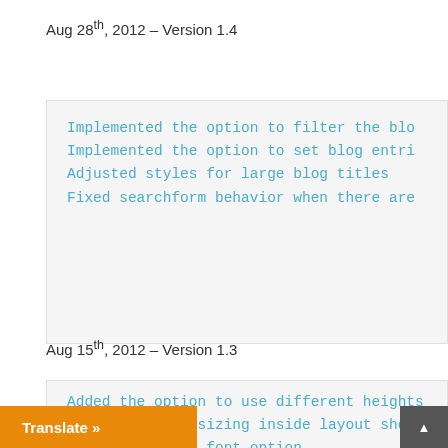Aug 28th, 2012 – Version 1.4
Implemented the option to filter the blo...
Implemented the option to set blog entri...
Adjusted styles for large blog titles
Fixed searchform behavior when there are...
Aug 15th, 2012 – Version 1.3
Added the option to use different heights...
Improved image sizing inside layout shor...
Added Questrial font option
Adjusted the help file (shortcodes secti...
...ring on IE9 with compatibilit...
...nts text option when comments...